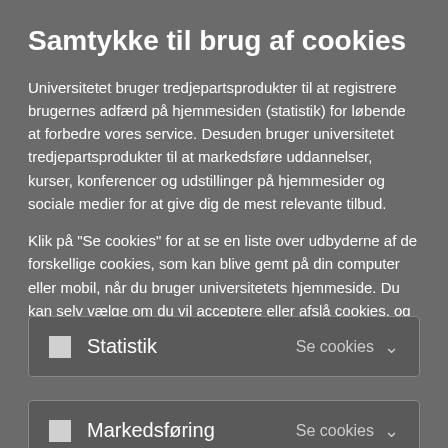Samtykke til brug af cookies
Universitetet bruger tredjepartsprodukter til at registrere brugernes adfærd på hjemmesiden (statistik) for løbende at forbedre vores service. Desuden bruger universitetet tredjepartsprodukter til at markedsføre uddannelser, kurser, konferencer og udstillinger på hjemmesider og sociale medier for at give dig de mest relevante tilbud.
Klik på "Se cookies" for at se en liste over udbyderne af de forskellige cookies, som kan blive gemt på din computer eller mobil, når du bruger universitetets hjemmeside. Du kan selv vælge om du vil acceptere eller afslå cookies, og du kan altid ændre dit samtykke
Statistik   Se cookies
Markedsføring   Se cookies